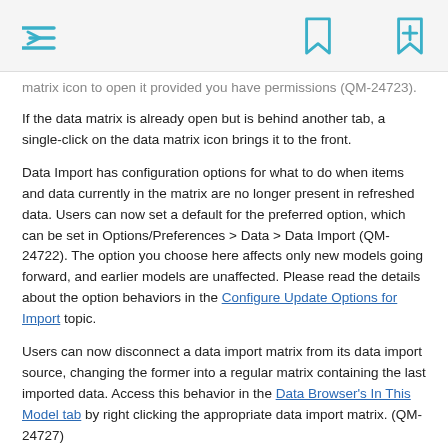[navigation icons: menu, bookmark, add bookmark]
matrix icon to open it provided you have permissions (QM-24723).
If the data matrix is already open but is behind another tab, a single-click on the data matrix icon brings it to the front.
Data Import has configuration options for what to do when items and data currently in the matrix are no longer present in refreshed data. Users can now set a default for the preferred option, which can be set in Options/Preferences > Data > Data Import (QM-24722). The option you choose here affects only new models going forward, and earlier models are unaffected. Please read the details about the option behaviors in the Configure Update Options for Import topic.
Users can now disconnect a data import matrix from its data import source, changing the former into a regular matrix containing the last imported data. Access this behavior in the Data Browser's In This Model tab by right clicking the appropriate data import matrix. (QM-24727)
When categories are generated from a field in a data source, by default the category will share the field name. Modelers might change this name to be more friendly for users, but then find it difficult to determine later from which field certain items are sourced. The source field for items is now shown in a tool tip when you hover the cursor over the item of interest while in data import configuration mode. (QM-24725)
For improved usability, Modeler is now more permissive regarding syntax when entering Data Import qualifiers, and errors no longer occur when using single or double quotes, or backslashes (QM-24334)
The points on the boundary of a field with ID queries include the extreme values on each